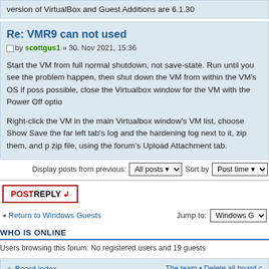version of VirtualBox and Guest Additions are 6.1.30
Re: VMR9 can not used
by scottgus1 » 30. Nov 2021, 15:36
Start the VM from full normal shutdown, not save-state. Run until you see the problem happen, then shut down the VM from within the VM's OS if possible, close the Virtualbox window for the VM with the Power Off option.
Right-click the VM in the main Virtualbox window's VM list, choose Show... Save the far left tab's log and the hardening log next to it, zip them, and post... zip file, using the forum's Upload Attachment tab.
Display posts from previous: All posts ▾   Sort by Post time ▾
POSTREPLY
Return to Windows Guests
Jump to: Windows G...
WHO IS ONLINE
Users browsing this forum: No registered users and 19 guests
Board index   The team • Delete all board c...